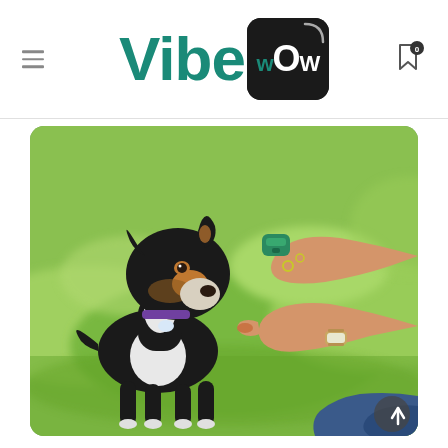VibeWOW logo with navigation
[Figure (photo): A black, white, and tan puppy with a purple collar and bone tag sniffs a treat being offered by a person's hands. The person also holds a green clicker in their other hand. The background is a blurred green grassy field. The scene depicts dog training with positive reinforcement.]